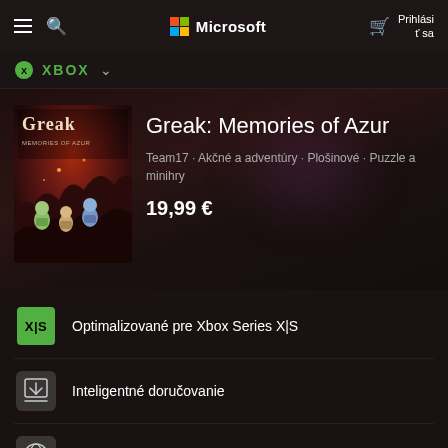Microsoft
XBOX
[Figure (screenshot): Game cover art for Greak: Memories of Azur showing fantasy characters in a dark cave environment]
Greak: Memories of Azur
Team17 · Akčné a adventúry · Plošinové · Puzzle a minihry
19,99 €
Optimalizované pre Xbox Series X|S
Inteligentné doručovanie
Podporované jazyky: 11